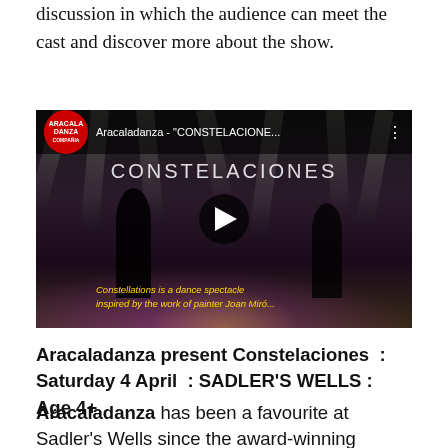discussion in which the audience can meet the cast and discover more about the show.
[Figure (screenshot): YouTube video thumbnail for Aracaladanza - CONSTELACIONES, showing two silhouetted dancers on a dark stage with dramatic spotlights and pink/purple stage lighting. A subtitle reads: 'Constellations is a dance spectacle inspired by the work of painter Joan Miró.' A play button is visible in the center.]
Aracaladanza present Constelaciones : Saturday 4 April : SADLER'S WELLS : Age 4+
Aracaladanza has been a favourite at Sadler's Wells since the award-winning company's Family Weekend